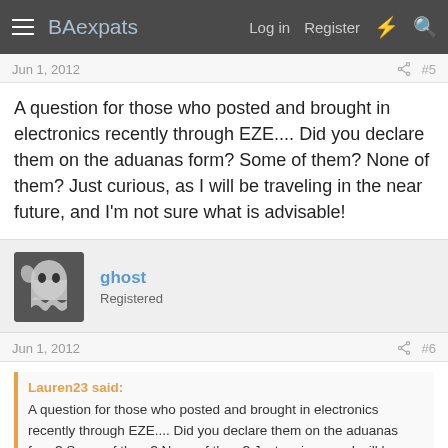BAexpats | Log in | Register
Jun 1, 2012 #5
A question for those who posted and brought in electronics recently through EZE.... Did you declare them on the aduanas form? Some of them? None of them? Just curious, as I will be traveling in the near future, and I'm not sure what is advisable!
ghost
Registered
Jun 1, 2012 #6
Lauren23 said:
A question for those who posted and brought in electronics recently through EZE.... Did you declare them on the aduanas form? Some of them? None of them? Just curious, as I will be traveling in the near future, and I'm not sure what is advisable!
Are you kidding. Never.